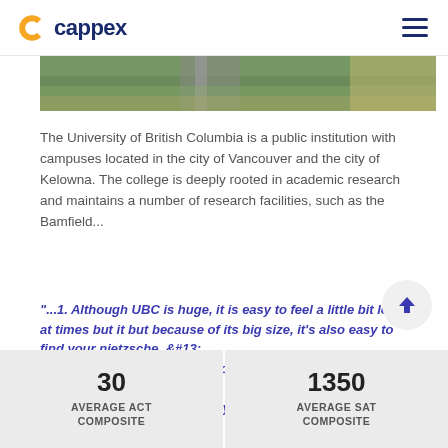cappex
[Figure (photo): Aerial view of roads and greenery, partial crop at top of page]
The University of British Columbia is a public institution with campuses located in the city of Vancouver and the city of Kelowna. The college is deeply rooted in academic research and maintains a number of research facilities, such as the Bamfield...
“...1. Although UBC is huge, it is easy to feel a little bit lost at times but it but because of its big size, it’s also easy to find your nietzsche. &#13;
2. UBC has one of the most gorgeous campuses in the world, hands down.&#13;
3. UBC has a great... ” – Anonymous
| STAT | VALUE |
| --- | --- |
| AVERAGE ACT COMPOSITE | 30 |
| AVERAGE SAT COMPOSITE | 1350 |